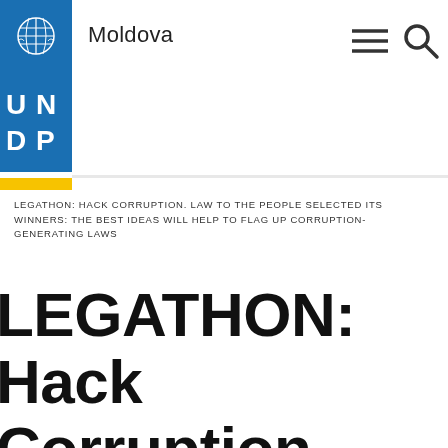Moldova
LEGATHON: HACK CORRUPTION. LAW TO THE PEOPLE SELECTED ITS WINNERS: THE BEST IDEAS WILL HELP TO FLAG UP CORRUPTION-GENERATING LAWS
LEGATHON: Hack Corruption. Law to the People selected its winners: the best ideas will help to flag up corruption-generating